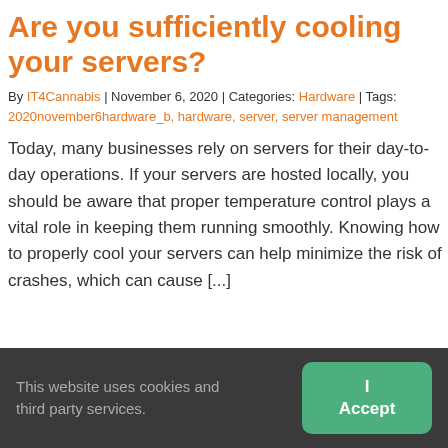Are you sufficiently cooling your servers?
By IT4Cannabis | November 6, 2020 | Categories: Hardware | Tags: 2020november6hardware_b, hardware, server, server management
Today, many businesses rely on servers for their day-to-day operations. If your servers are hosted locally, you should be aware that proper temperature control plays a vital role in keeping them running smoothly. Knowing how to properly cool your servers can help minimize the risk of crashes, which can cause [...]
READ MORE
This website uses cookies and third party services.
I Accept